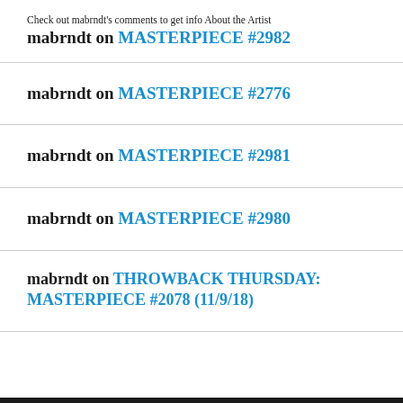Check out mabrndt's comments to get info About the Artist mabrndt on MASTERPIECE #2982
mabrndt on MASTERPIECE #2776
mabrndt on MASTERPIECE #2981
mabrndt on MASTERPIECE #2980
mabrndt on THROWBACK THURSDAY: MASTERPIECE #2078 (11/9/18)